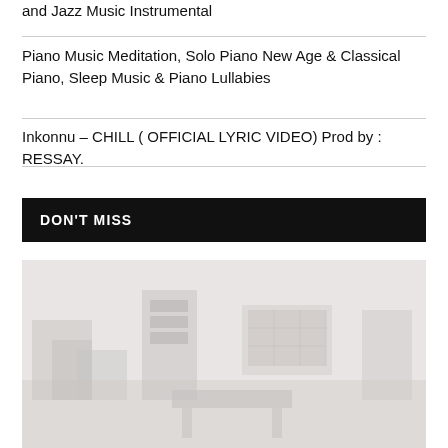and Jazz Music Instrumental
Piano Music Meditation, Solo Piano New Age & Classical Piano, Sleep Music & Piano Lullabies
Inkonnu – CHILL ( OFFICIAL LYRIC VIDEO) Prod by : RESSAY.
DON'T MISS
[Figure (photo): A faded/washed-out interior room scene, possibly a music studio or living space, with furniture and a screen or display visible in the center-right area.]